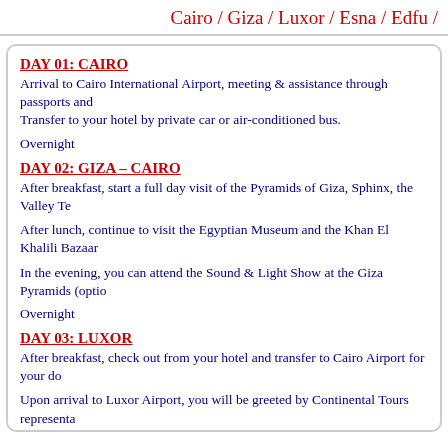Cairo / Giza / Luxor / Esna / Edfu /
DAY 01: CAIRO
Arrival to Cairo International Airport, meeting & assistance through passports and Transfer to your hotel by private car or air-conditioned bus.
Overnight
DAY 02: GIZA – CAIRO
After breakfast, start a full day visit of the Pyramids of Giza, Sphinx, the Valley Te
After lunch, continue to visit the Egyptian Museum and the Khan El Khalili Bazaar
In the evening, you can attend the Sound & Light Show at the Giza Pyramids (optio
Overnight
DAY 03: LUXOR
After breakfast, check out from your hotel and transfer to Cairo Airport for your do
Upon arrival to Luxor Airport, you will be greeted by Continental Tours representa
Overnight on board
DAY 04: LUXOR - ESNA
After breakfast, start a half day visit of the Karnak and Luxor Temples, then sail to